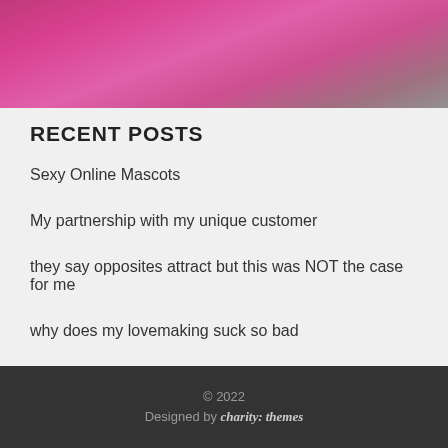[Figure (photo): Cropped photo of a person wearing a pink/magenta top, upper body visible against a light background]
RECENT POSTS
Sexy Online Mascots
My partnership with my unique customer
they say opposites attract but this was NOT the case for me
why does my lovemaking suck so bad
What Do You Leave teasing
© 2022 Designed by charity: themes